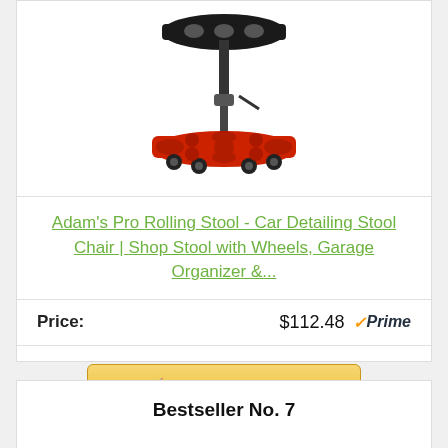[Figure (photo): Adam's Pro Rolling Stool product photo - a shop stool with a black seat on top of a red base with wheels/casters]
Adam's Pro Rolling Stool - Car Detailing Stool Chair | Shop Stool with Wheels, Garage Organizer &...
Price: $112.48 Prime
Buy On Amazon
Bestseller No. 7